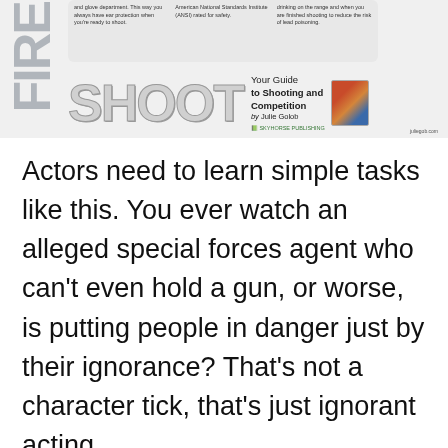[Figure (screenshot): Screenshot of a book promotional image for 'Your Guide to Shooting and Competition by Julie Golob'. Shows 'FIRE' text vertically on left, 'SHOOT' in large letters, an info box with safety tips, a book cover thumbnail, and website juliegob.com.]
Actors need to learn simple tasks like this. You ever watch an alleged special forces agent who can't even hold a gun, or worse, is putting people in danger just by their ignorance? That's not a character tick, that's just ignorant acting.